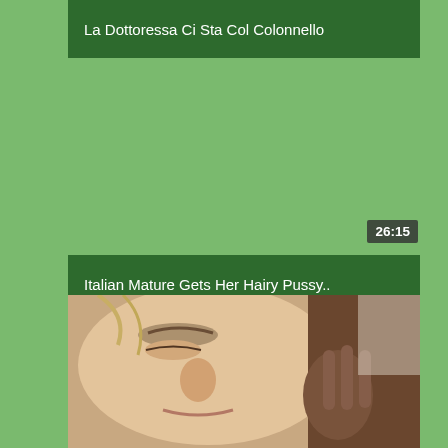La Dottoressa Ci Sta Col Colonnello
[Figure (screenshot): Video thumbnail area (partially visible at top), green background fill]
26:15
Italian Mature Gets Her Hairy Pussy..
[Figure (photo): Close-up photo of a woman's face]